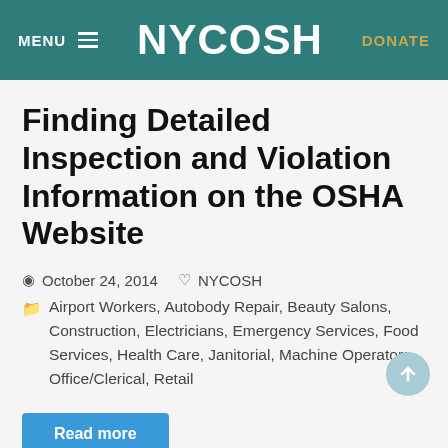MENU   NYCOSH   DONATE
Finding Detailed Inspection and Violation Information on the OSHA Website
October 24, 2014   NYCOSH
Airport Workers, Autobody Repair, Beauty Salons, Construction, Electricians, Emergency Services, Food Services, Health Care, Janitorial, Machine Operators, Office/Clerical, Retail
Read more